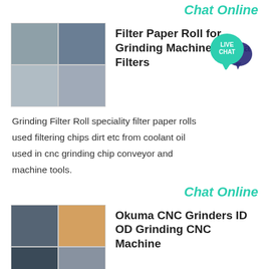Chat Online
[Figure (photo): Grid of four industrial grinding machine photos]
Filter Paper Roll for Grinding MachineOmega Filters
[Figure (illustration): Live Chat bubble icon with teal and dark blue speech bubbles]
Grinding Filter Roll speciality filter paper rolls used filtering chips dirt etc from coolant oil used in cnc grinding chip conveyor and machine tools.
Chat Online
[Figure (photo): Grid of four industrial CNC grinder machine photos]
Okuma CNC Grinders ID OD Grinding CNC Machine
Okuma I.D and O.D grinders reflect the design and precision of over 100 years of experience